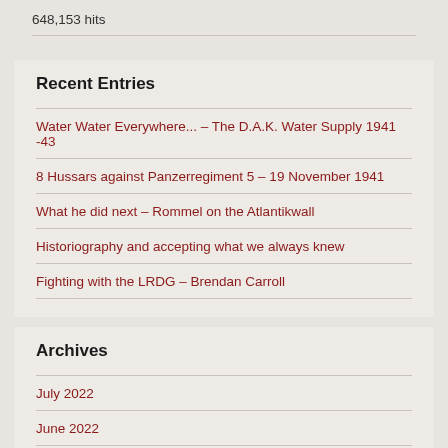648,153 hits
Recent Entries
Water Water Everywhere... – The D.A.K. Water Supply 1941 -43
8 Hussars against Panzerregiment 5 – 19 November 1941
What he did next – Rommel on the Atlantikwall
Historiography and accepting what we always knew
Fighting with the LRDG – Brendan Carroll
Archives
July 2022
June 2022
May 2022